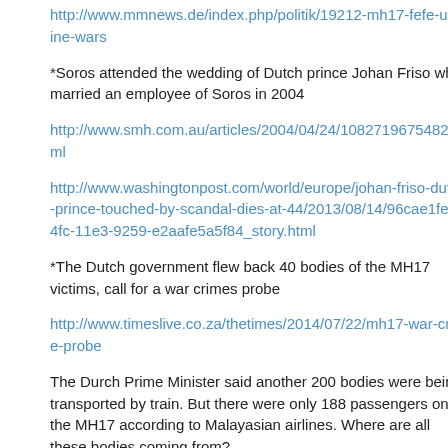http://www.mmnews.de/index.php/politik/19212-mh17-fefe-ukraine-wars
*Soros attended the wedding of Dutch prince Johan Friso who married an employee of Soros in 2004
http://www.smh.com.au/articles/2004/04/24/1082719675482.html
http://www.washingtonpost.com/world/europe/johan-friso-dutch-prince-touched-by-scandal-dies-at-44/2013/08/14/96cae1fe-04fc-11e3-9259-e2aafe5a5f84_story.html
*The Dutch government flew back 40 bodies of the MH17 victims, call for a war crimes probe
http://www.timeslive.co.za/thetimes/2014/07/22/mh17-war-crime-probe
The Durch Prime Minister said another 200 bodies were being transported by train. But there were only 188 passengers on the MH17 according to Malayasian airlines. Where are all these bodies coming from?